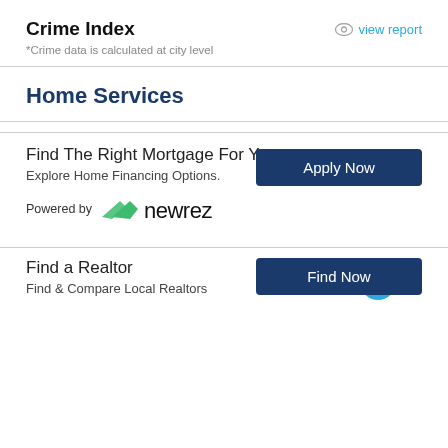Crime Index
view report
*Crime data is calculated at city level
Home Services
Find The Right Mortgage For You
Explore Home Financing Options.
Powered by newrez
Apply Now
Find a Realtor
Find & Compare Local Realtors
Find Now